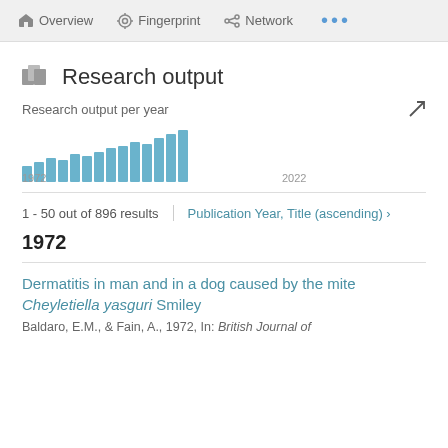Overview   Fingerprint   Network   ...
Research output
[Figure (bar-chart): Research output per year]
1 - 50 out of 896 results
Publication Year, Title (ascending) ›
1972
Dermatitis in man and in a dog caused by the mite Cheyletiella yasguri Smiley
Baldaro, E.M., & Fain, A., 1972, In: British Journal of